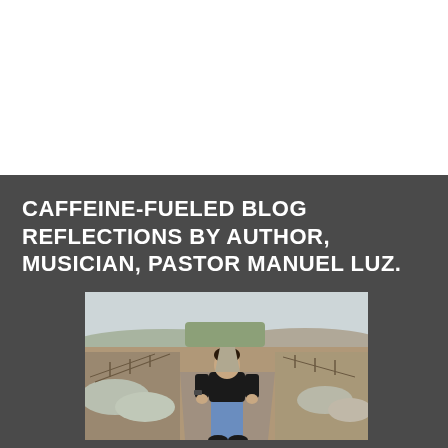CAFFEINE-FUELED BLOG REFLECTIONS BY AUTHOR, MUSICIAN, PASTOR MANUEL LUZ.
[Figure (photo): A man in a black t-shirt and blue jeans walking toward the camera on a rural dirt road. On both sides are fenced fields and dry brush. Rolling hills and a pale sky are visible in the background. The image has a muted, slightly cold color tone.]